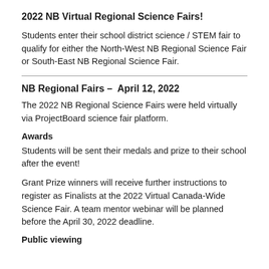2022 NB Virtual Regional Science Fairs!
Students enter their school district science / STEM fair to qualify for either the North-West NB Regional Science Fair or South-East NB Regional Science Fair.
NB Regional Fairs –  April 12, 2022
The 2022 NB Regional Science Fairs were held virtually via ProjectBoard science fair platform.
Awards
Students will be sent their medals and prize to their school after the event!
Grant Prize winners will receive further instructions to register as Finalists at the 2022 Virtual Canada-Wide Science Fair. A team mentor webinar will be planned before the April 30, 2022 deadline.
Public viewing